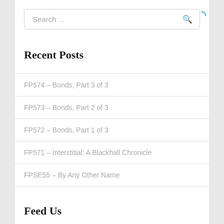Search ...
Recent Posts
FP574 – Bonds, Part 3 of 3
FP573 – Bonds, Part 2 of 3
FP572 – Bonds, Part 1 of 3
FP571 – Interstitial: A Blackhall Chronicle
FPSE55 – By Any Other Name
Feed Us